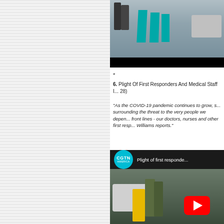[Figure (photo): COVID-19 testing site with signs, police car, and people standing outdoors. Top portion of a video frame cut off at top, with black bar at bottom.]
*
6. Plight Of First Responders And Medical Staff I... 28)
"As the COVID-19 pandemic continues to grow, s... surrounding the threat to the very people we depen... front lines - our doctors, nurses and other first resp... Williams reports."
[Figure (screenshot): CGTN America YouTube video thumbnail titled 'Plight of first responders' showing people including a person in yellow jacket next to a car, with YouTube play button overlay.]